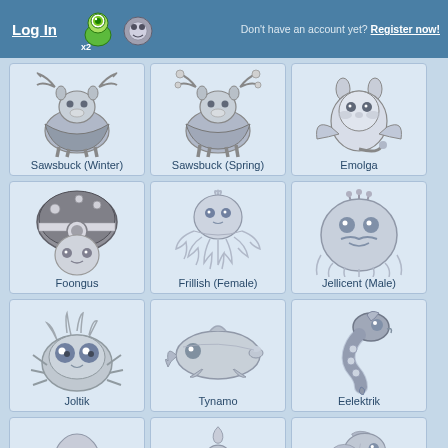Log In | Don't have an account yet? Register now!
[Figure (illustration): Grid of Pokemon sprite illustrations: Row 1: Sawsbuck (Winter), Sawsbuck (Spring), Emolga. Row 2: Foongus, Frillish (Female), Jellicent (Male). Row 3: Joltik, Tynamo, Eelektrik. Row 4 (partial): three more Pokemon partially visible.]
Sawsbuck (Winter)
Sawsbuck (Spring)
Emolga
Foongus
Frillish (Female)
Jellicent (Male)
Joltik
Tynamo
Eelektrik